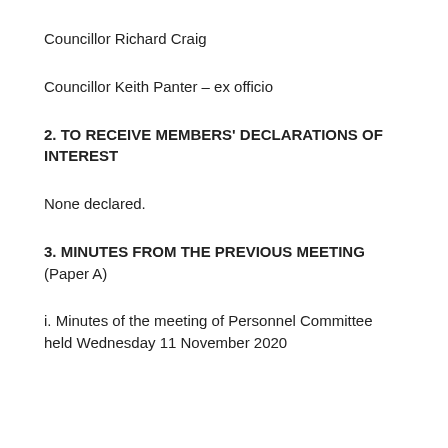Councillor Richard Craig
Councillor Keith Panter – ex officio
2. TO RECEIVE MEMBERS' DECLARATIONS OF INTEREST
None declared.
3. MINUTES FROM THE PREVIOUS MEETING (Paper A)
i. Minutes of the meeting of Personnel Committee held Wednesday 11 November 2020